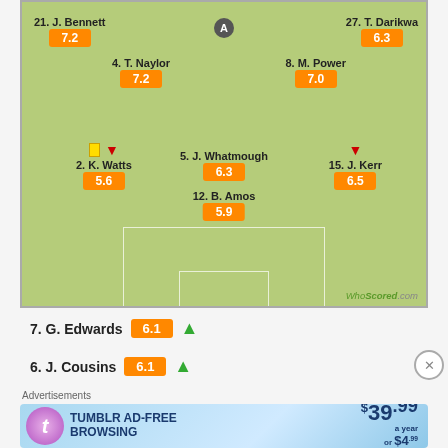[Figure (infographic): Football pitch formation diagram with player names and WhoScored ratings. Players shown: 21.J.Bennett (7.2), 27.T.Darikwa (6.3), 4.T.Naylor (7.2), 8.M.Power (7.0), 2.K.Watts (5.6), 5.J.Whatmough (6.3), 15.J.Kerr (6.5), 12.B.Amos (5.9). WhoScored.com logo shown.]
7. G. Edwards  6.1 ↑
6. J. Cousins  6.1 ↑
Advertisements
[Figure (screenshot): Tumblr AD-FREE BROWSING advertisement banner. $39.99 a year or $4.99 a month.]